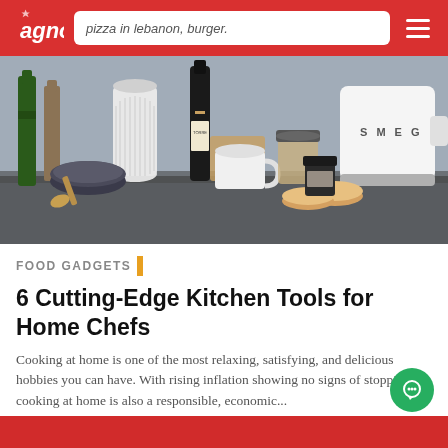agno — pizza in lebanon, burger. [navigation header with logo and search]
[Figure (photo): Kitchen countertop with various cooking items: olive oil bottles, a white vase, a wine bottle, a SMEG kettle, bowls, a jar, and English muffins]
FOOD GADGETS
6 Cutting-Edge Kitchen Tools for Home Chefs
Cooking at home is one of the most relaxing, satisfying, and delicious hobbies you can have. With rising inflation showing no signs of stopping, cooking at home is also a responsible, economic...
July 26, 2022 | Kitchen